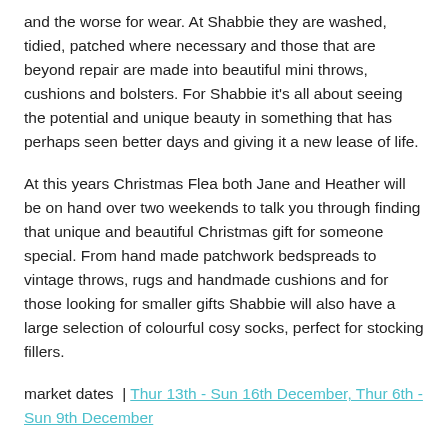and the worse for wear. At Shabbie they are washed, tidied, patched where necessary and those that are beyond repair are made into beautiful mini throws, cushions and bolsters. For Shabbie it's all about seeing the potential and unique beauty in something that has perhaps seen better days and giving it a new lease of life.
At this years Christmas Flea both Jane and Heather will be on hand over two weekends to talk you through finding that unique and beautiful Christmas gift for someone special. From hand made patchwork bedspreads to vintage throws, rugs and handmade cushions and for those looking for smaller gifts Shabbie will also have a large selection of colourful cosy socks, perfect for stocking fillers.
market dates | Thur 13th - Sun 16th December, Thur 6th - Sun 9th December
price range | £5 – £200